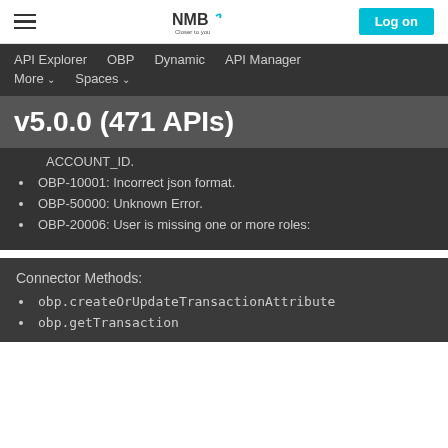NMB | Log on
API Explorer   OBP   Dynamic   API Manager   More   Spaces
v5.0.0 (471 APIs)
ACCOUNT_ID.
OBP-10001: Incorrect json format.
OBP-50000: Unknown Error.
OBP-20006: User is missing one or more roles:
Connector Methods:
obp.createOrUpdateTransactionAttribute
obp.getTransaction